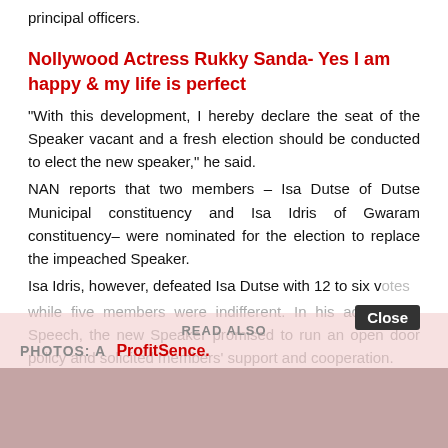principal officers.
Nollywood Actress Rukky Sanda- Yes I am happy & my life is perfect
“With this development, I hereby declare the seat of the Speaker vacant and a fresh election should be conducted to elect the new speaker,” he said.
NAN reports that two members – Isa Dutse of Dutse Municipal constituency and Isa Idris of Gwaram constituency– were nominated for the election to replace the impeached Speaker.
Isa Idris, however, defeated Isa Dutse with 12 to six votes while five members were indifferent. In his acceptance Speech, the new Speaker promised to run an open door policy and solicited members’ support and cooperation.
READ ALSO
PHOTOS: A ProfitSence.